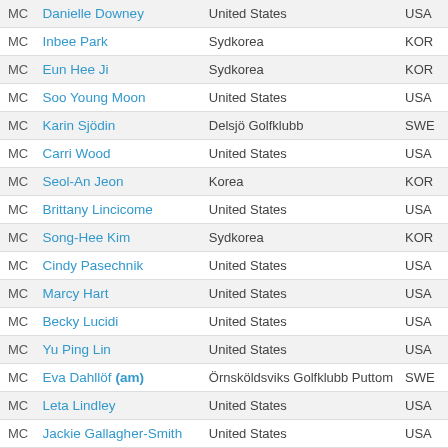|  | Name | Club/Country | Code |
| --- | --- | --- | --- |
| MC | Danielle Downey | United States | USA |
| MC | Inbee Park | Sydkorea | KOR |
| MC | Eun Hee Ji | Sydkorea | KOR |
| MC | Soo Young Moon | United States | USA |
| MC | Karin Sjödin | Delsjö Golfklubb | SWE |
| MC | Carri Wood | United States | USA |
| MC | Seol-An Jeon | Korea | KOR |
| MC | Brittany Lincicome | United States | USA |
| MC | Song-Hee Kim | Sydkorea | KOR |
| MC | Cindy Pasechnik | United States | USA |
| MC | Marcy Hart | United States | USA |
| MC | Becky Lucidi | United States | USA |
| MC | Yu Ping Lin | United States | USA |
| MC | Eva Dahllöf (am) | Örnsköldsviks Golfklubb Puttom | SWE |
| MC | Leta Lindley | United States | USA |
| MC | Jackie Gallagher-Smith | United States | USA |
| MC | Kristy Mcpherson | United States | USA |
| MC | Shanshan Feng | Kina | CHN |
| MC | Meaghan Françella | United States | USA |